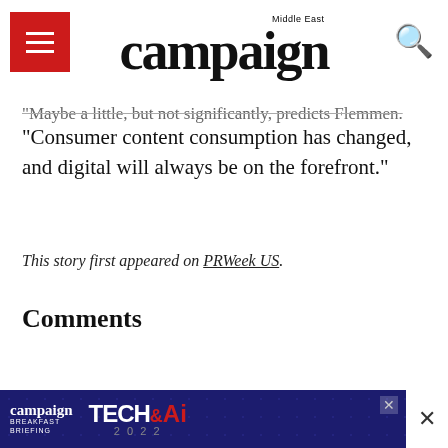campaign Middle East
"Maybe a little, but not significantly, predicts Flemmen.
"Consumer content consumption has changed, and digital will always be on the forefront."
This story first appeared on PRWeek US.
Comments
Tags:  Covid-19  influencers  pandemic
< PREVIOUS ARTICLE
Reddit grows UK and EMEA sales team
[Figure (screenshot): Campaign Tech & AI Breakfast Briefing 2022 advertisement banner]